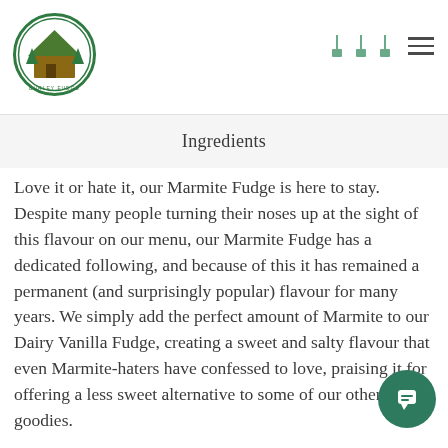Burley Fudge logo and navigation icons
Ingredients
Love it or hate it, our Marmite Fudge is here to stay. Despite many people turning their noses up at the sight of this flavour on our menu, our Marmite Fudge has a dedicated following, and because of this it has remained a permanent (and surprisingly popular) flavour for many years. We simply add the perfect amount of Marmite to our Dairy Vanilla Fudge, creating a sweet and salty flavour that even Marmite-haters have confessed to love, praising it for offering a less sweet alternative to some of our other goodies.